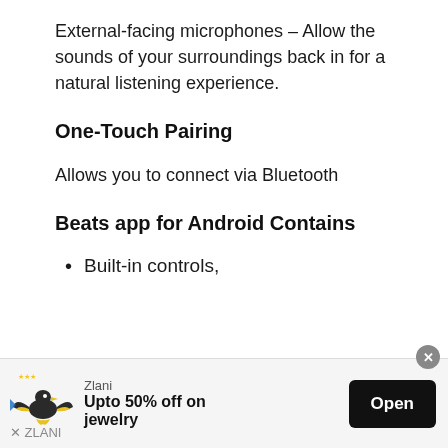External-facing microphones – Allow the sounds of your surroundings back in for a natural listening experience.
One-Touch Pairing
Allows you to connect via Bluetooth
Beats app for Android Contains
Built-in controls,
[Figure (other): Advertisement banner for Zlani jewelry with logo, text 'Upto 50% off on jewelry', and Open button]